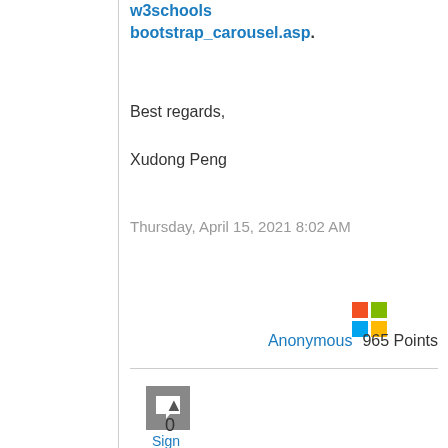classes, you could refer to w3schools bootstrap_carousel.asp.
Best regards,
Xudong Peng
Thursday, April 15, 2021 8:02 AM
Anonymous  965 Points
[Figure (logo): Microsoft logo (4-color grid)]
[Figure (other): Comment icon square with speech bubble]
0
Sign in to